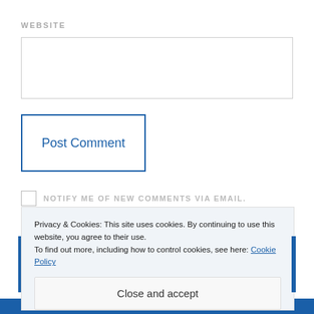WEBSITE
[Figure (screenshot): Empty website input text field with grey border]
Post Comment
NOTIFY ME OF NEW COMMENTS VIA EMAIL.
NOTIFY ME OF NEW POSTS VIA EMAIL.
Privacy & Cookies: This site uses cookies. By continuing to use this website, you agree to their use. To find out more, including how to control cookies, see here: Cookie Policy
Close and accept